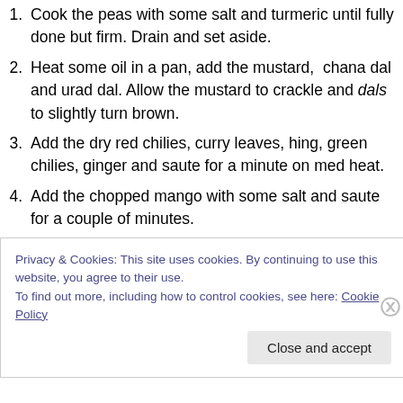Cook the peas with some salt and turmeric until fully done but firm. Drain and set aside.
Heat some oil in a pan, add the mustard, chana dal and urad dal. Allow the mustard to crackle and dals to slightly turn brown.
Add the dry red chilies, curry leaves, hing, green chilies, ginger and saute for a minute on med heat.
Add the chopped mango with some salt and saute for a couple of minutes.
Add the coconut and stir fry for a couple of minutes until lightly toasted.
Privacy & Cookies: This site uses cookies. By continuing to use this website, you agree to their use. To find out more, including how to control cookies, see here: Cookie Policy